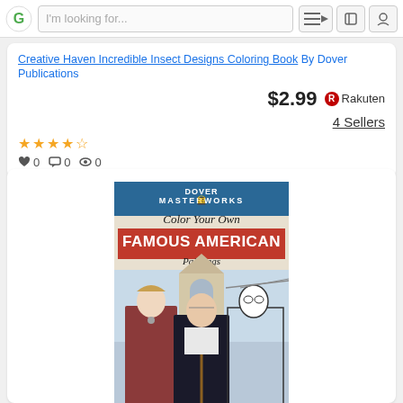Navigation bar with search: I'm looking for...
Creative Haven Incredible Insect Designs Coloring Book By Dover Publications
$2.99 Rakuten 4 Sellers
♥ 0  💬 0  👁 0
[Figure (photo): Book cover: Dover Masterworks Color Your Own Famous American Paintings, showing American Gothic painting style artwork with colored and outline figures]
Dover Masterworks: Color Your Own Famous American Paintings By Dover
$4.50 ebay